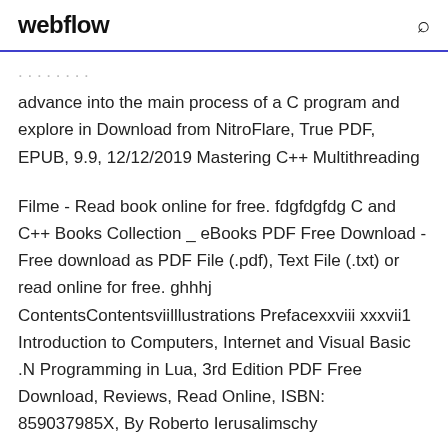webflow
advance into the main process of a C program and explore in Download from NitroFlare, True PDF, EPUB, 9.9, 12/12/2019 Mastering C++ Multithreading
Filme - Read book online for free. fdgfdgfdg C and C++ Books Collection _ eBooks PDF Free Download - Free download as PDF File (.pdf), Text File (.txt) or read online for free. ghhhj ContentsContentsviilllustrations Prefacexxviii xxxvii1 Introduction to Computers, Internet and Visual Basic .N Programming in Lua, 3rd Edition PDF Free Download, Reviews, Read Online, ISBN: 859037985X, By Roberto Ierusalimschy